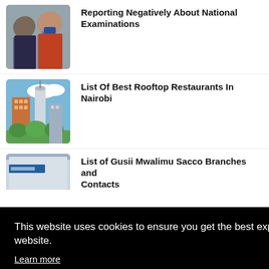[Figure (photo): Two men in suits, one wearing a blue mask, photographed outdoors]
Reporting Negatively About National Examinations
[Figure (photo): Aerial view of tall buildings in Nairobi with green trees below]
List Of Best Rooftop Restaurants In Nairobi
[Figure (photo): Partial view of a building with a sign, partially obscured]
List of Gusii Mwalimu Sacco Branches and Contacts
This website uses cookies to ensure you get the best experience on our website.
Learn more
This website uses cookies to improve your experience. We'll assume you're ok with this, but you can opt-out if you wish.
Cookie settings
ACCEPT